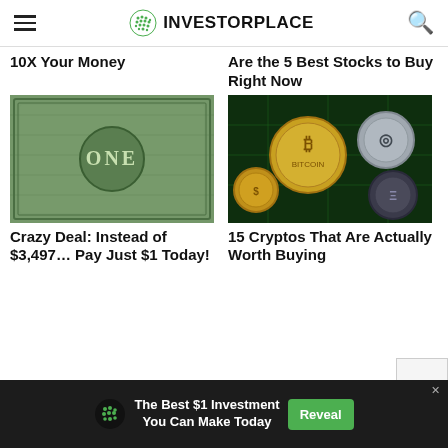INVESTORPLACE
10X Your Money
[Figure (photo): Close-up of a US one dollar bill showing engraving detail]
Crazy Deal: Instead of $3,497… Pay Just $1 Today!
Are the 5 Best Stocks to Buy Right Now
[Figure (photo): Various cryptocurrency coins including Bitcoin, Ripple, and other altcoins on a green circuit board]
15 Cryptos That Are Actually Worth Buying
The Best $1 Investment You Can Make Today
Reveal